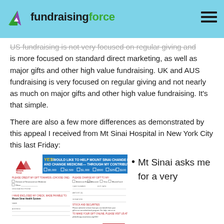fundraising force
US fundraising is not very focused on regular giving and is more focused on standard direct marketing, as well as major gifts and other high value fundraising. UK and AUS fundraising is very focused on regular giving and not nearly as much on major gifts and other high value fundraising. It's that simple.
There are also a few more differences as demonstrated by this appeal I received from Mt Sinai Hospital in New York City this last Friday:
[Figure (screenshot): Mount Sinai Hospital donation appeal form showing YES! I WOULD LIKE TO HELP MOUNT SINAI CHANGE LIVES— AND CHANGE MEDICINE— THROUGH MY CONTRIBUTION OF: with checkboxes for $5,000, $2,500, $1,000, $500, $250, $100, Other $]
Mt Sinai asks me for a very